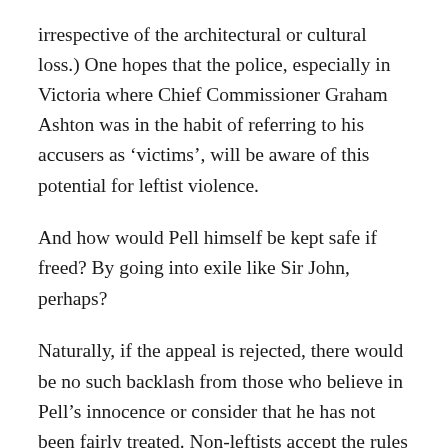irrespective of the architectural or cultural loss.) One hopes that the police, especially in Victoria where Chief Commissioner Graham Ashton was in the habit of referring to his accusers as 'victims', will be aware of this potential for leftist violence.

And how would Pell himself be kept safe if freed? By going into exile like Sir John, perhaps?

Naturally, if the appeal is rejected, there would be no such backlash from those who believe in Pell's innocence or consider that he has not been fairly treated. Non-leftists accept the rules and juridical authority of our society. Leftists accept the bits that suit them. It's fine, for example, in the leftist playbook for leftists to take over the streets and shut down a city centre, as the